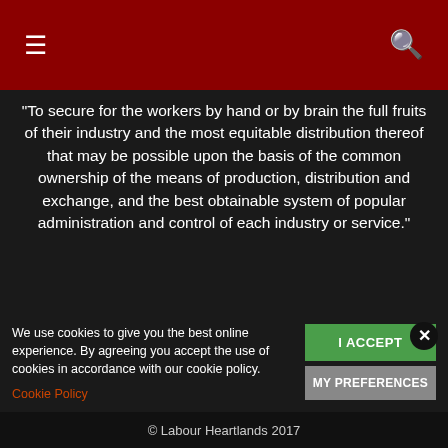[Navigation bar with menu and search icons]
“To secure for the workers by hand or by brain the full fruits of their industry and the most equitable distribution thereof that may be possible upon the basis of the common ownership of the means of production, distribution and exchange, and the best obtainable system of popular administration and control of each industry or service.”
Contact us: contact@labourheartlands.com
FOLLOW US
We use cookies to give you the best online experience. By agreeing you accept the use of cookies in accordance with our cookie policy.
Cookie Policy
I ACCEPT
MY PREFERENCES
© Labour Heartlands 2017